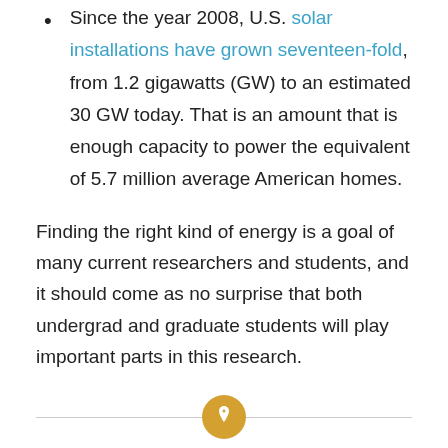Since the year 2008, U.S. solar installations have grown seventeen-fold, from 1.2 gigawatts (GW) to an estimated 30 GW today. That is an amount that is enough capacity to power the equivalent of 5.7 million average American homes.
Finding the right kind of energy is a goal of many current researchers and students, and it should come as no surprise that both undergrad and graduate students will play important parts in this research.
[Figure (other): A horizontal divider line with an orange circle containing a pin/pushpin icon in the center.]
Solar Financing Program / Solar System / Sonoma County Solar Program